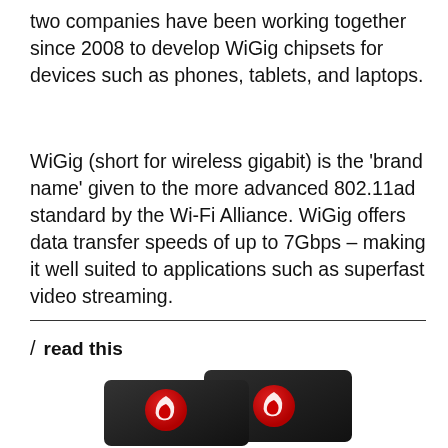two companies have been working together since 2008 to develop WiGig chipsets for devices such as phones, tablets, and laptops.
WiGig (short for wireless gigabit) is the 'brand name' given to the more advanced 802.11ad standard by the Wi-Fi Alliance. WiGig offers data transfer speeds of up to 7Gbps – making it well suited to applications such as superfast video streaming.
/ read this
[Figure (photo): Two Qualcomm Snapdragon chips/devices with the Snapdragon logo (red and white 'S' shape) visible on black surfaces, overlapping each other.]